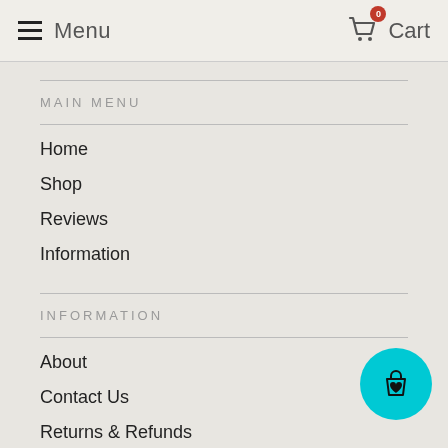Menu  Cart
MAIN MENU
Home
Shop
Reviews
Information
INFORMATION
About
Contact Us
Returns & Refunds
Reviews
Size Guide
[Figure (illustration): Floating teal circular button with a shopping bag and heart icon]